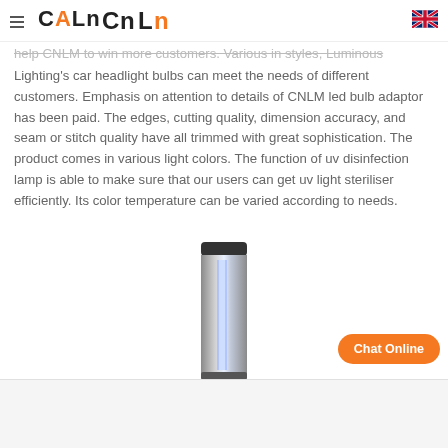CNLM logo and navigation header with hamburger menu and UK flag
help CNLM to win more customers. Various in styles, Luminous Lighting's car headlight bulbs can meet the needs of different customers. Emphasis on attention to details of CNLM led bulb adaptor has been paid. The edges, cutting quality, dimension accuracy, and seam or stitch quality have all trimmed with great sophistication. The product comes in various light colors. The function of uv disinfection lamp is able to make sure that our users can get uv light steriliser efficiently. Its color temperature can be varied according to needs.
[Figure (photo): UV disinfection lamp - a cylindrical metallic steriliser lamp with dark top cap and glowing blue-white UV bulb inside, shown in product photo]
Chat Online